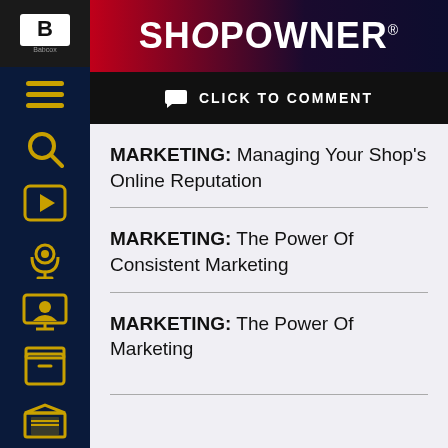SHOPOWNER
CLICK TO COMMENT
MARKETING: Managing Your Shop's Online Reputation
MARKETING: The Power Of Consistent Marketing
MARKETING: The Power Of Marketing